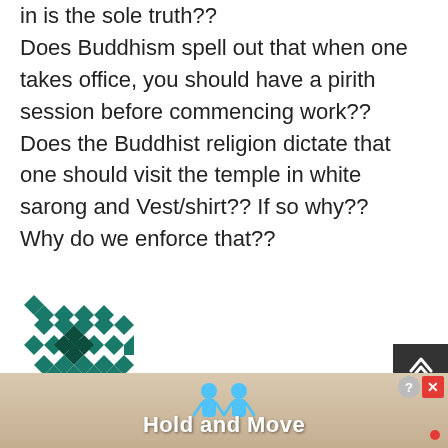in is the sole truth?? Does Buddhism spell out that when one takes office, you should have a pirith session before commencing work?? Does the Buddhist religion dictate that one should visit the temple in white sarong and Vest/shirt?? If so why?? Why do we enforce that??
[Figure (illustration): Tiled geometric avatar icon in dark teal/green color with diamond and cross pattern]
old codger / May 28, 2022
thumbs up: 0, thumbs down: 1
[Figure (screenshot): Advertisement banner showing Hold and Move game with cartoon figures, with help and close buttons]